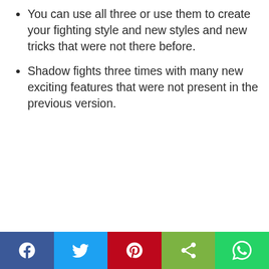You can use all three or use them to create your fighting style and new styles and new tricks that were not there before.
Shadow fights three times with many new exciting features that were not present in the previous version.
Social share bar: Facebook, Twitter, Pinterest, Share, WhatsApp